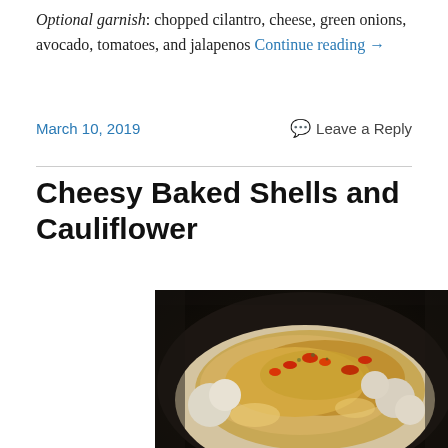Optional garnish: chopped cilantro, cheese, green onions, avocado, tomatoes, and jalapenos Continue reading →
March 10, 2019   Leave a Reply
Cheesy Baked Shells and Cauliflower
[Figure (photo): Close-up photo of cheesy baked shells and cauliflower on a dark plate, with golden breadcrumb topping and red pepper pieces]